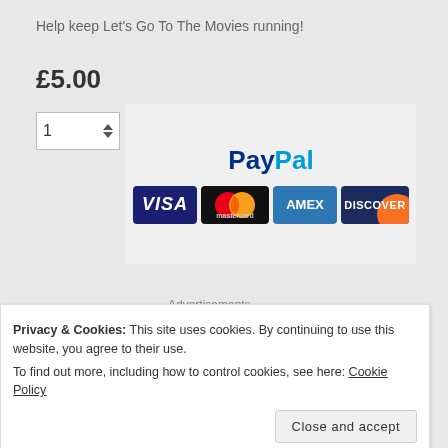Help keep Let's Go To The Movies running!
£5.00
[Figure (screenshot): Quantity spinner showing value 1 with up/down arrows]
[Figure (logo): PayPal logo with VISA, Mastercard, AMEX, and Discover card icons]
Advertisements
[Figure (logo): Jetpack plugin advertisement banner in green]
Privacy & Cookies: This site uses cookies. By continuing to use this website, you agree to their use.
To find out more, including how to control cookies, see here: Cookie Policy
Close and accept